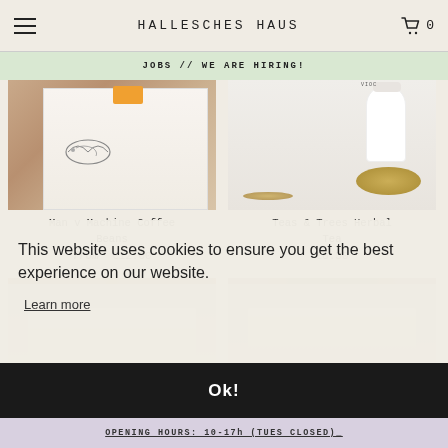HALLESCHES HAUS
JOBS // WE ARE HIRING!
[Figure (photo): Man v Machine Coffee Beans product photo]
Man v Machine Coffee Beans
from €12.00
[Figure (photo): Teas & Trees Herbal Tea product photo]
Teas & Trees Herbal Tea
€6.50
[Figure (photo): CYL Cup product photo]
CYL Cup
€12.00
[Figure (photo): Quench Cup product photo]
Quench Cup
€33.50
This website uses cookies to ensure you get the best experience on our website.
Learn more
Ok!
OPENING HOURS: 10-17h (TUES CLOSED)_